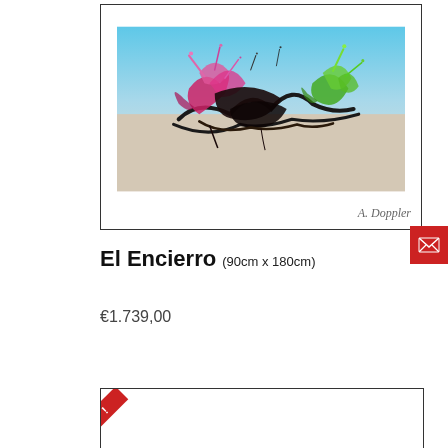[Figure (photo): Abstract painting 'El Encierro' showing explosive splashes of pink/magenta and green paint on a light background with blue sky. Artist signature at bottom right.]
El Encierro (90cm x 180cm)
€1.739,00
[Figure (photo): Partial view of another product card with a red sale/discount ribbon in the top-left corner.]